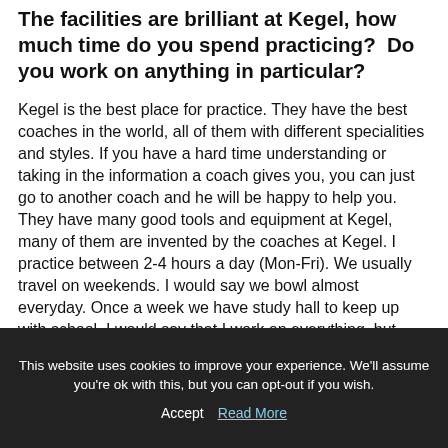The facilities are brilliant at Kegel, how much time do you spend practicing?  Do you work on anything in particular?
Kegel is the best place for practice. They have the best coaches in the world, all of them with different specialities and styles. If you have a hard time understanding or taking in the information a coach gives you, you can just go to another coach and he will be happy to help you. They have many good tools and equipment at Kegel, many of them are invented by the coaches at Kegel. I practice between 2-4 hours a day (Mon-Fri). We usually travel on weekends. I would say we bowl almost everyday. Once a week we have study hall to keep up with school. I would say that I work on everything, but right now a bit more on getting my elbow closer to my body.
This website uses cookies to improve your experience. We'll assume you're ok with this, but you can opt-out if you wish.